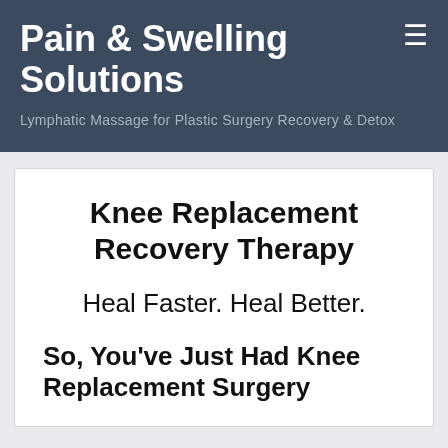Pain & Swelling Solutions
Lymphatic Massage for Plastic Surgery Recovery & Detox
Knee Replacement Recovery Therapy
Heal Faster. Heal Better.
So, You've Just Had Knee Replacement Surgery